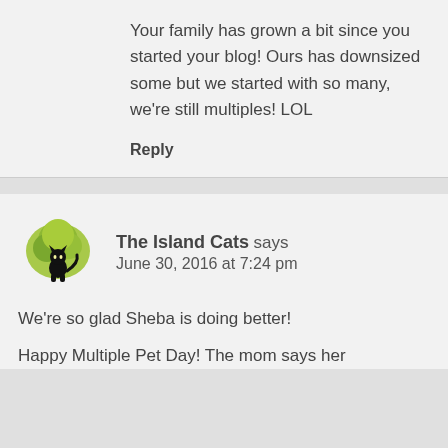Your family has grown a bit since you started your blog! Ours has downsized some but we started with so many, we're still multiples! LOL
Reply
The Island Cats says
June 30, 2016 at 7:24 pm
We're so glad Sheba is doing better!
Happy Multiple Pet Day! The mom says her